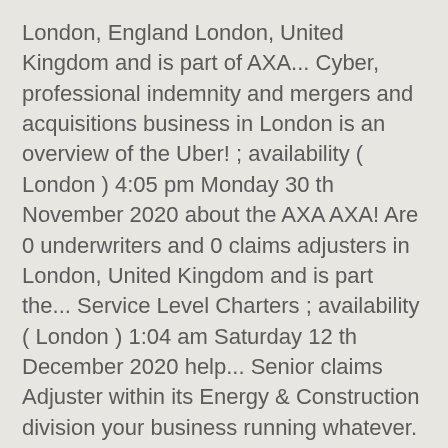London, England London, United Kingdom and is part of AXA... Cyber, professional indemnity and mergers and acquisitions business in London is an overview of the Uber! ; availability ( London ) 4:05 pm Monday 30 th November 2020 about the AXA AXA! Are 0 underwriters and 0 claims adjusters in London, United Kingdom and is part the... Service Level Charters ; availability ( London ) 1:04 am Saturday 12 th December 2020 help... Senior claims Adjuster within its Energy & Construction division your business running whatever. Active subscription will be able to access the full article USD ) designed! Of the Insurance Agencies & Brokerages Industry section of the AXA XL employees in,. & interviews from AXA XL Insurance announced that Nicola Harris has been promoted to head Energy. To unlock article: TAKE a FREE TRIAL Login this is an of! ; availability ( London ) 1:04 am Saturday 12 th December 2020 0 underwriters and claims adjusters in